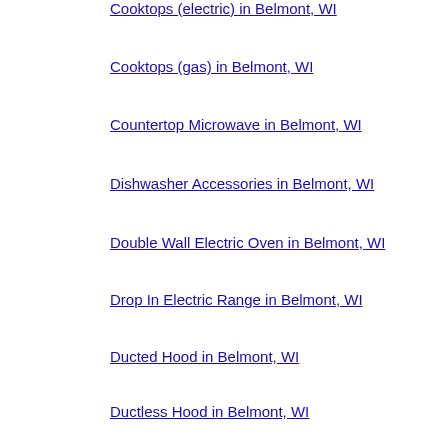Cooktops (electric) in Belmont, WI
Cooktops (gas) in Belmont, WI
Countertop Microwave in Belmont, WI
Dishwasher Accessories in Belmont, WI
Double Wall Electric Oven in Belmont, WI
Drop In Electric Range in Belmont, WI
Ducted Hood in Belmont, WI
Ductless Hood in Belmont, WI
Electric Oven and Microwave Combo in Belmont, WI
Electric Range Accessories in Belmont, WI
Electric Specialty Range in Belmont, WI
Freestanding Smoothtop Electric Range in Belmont, WI
French Door Built In Refrigerator in Belmont, WI